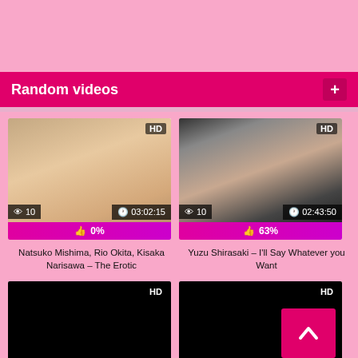Random videos
[Figure (screenshot): Video thumbnail 1: adult video with HD badge, 10 views, duration 03:02:15, 0% rating. Title: Natsuko Mishima, Rio Okita, Kisaka Narisawa – The Erotic]
[Figure (screenshot): Video thumbnail 2: adult video with HD badge, 10 views, duration 02:43:50, 63% rating. Title: Yuzu Shirasaki – I'll Say Whatever you Want]
Natsuko Mishima, Rio Okita, Kisaka Narisawa – The Erotic
Yuzu Shirasaki – I'll Say Whatever you Want
[Figure (screenshot): Video thumbnail 3: black/dark thumbnail with HD badge]
[Figure (screenshot): Video thumbnail 4: black/dark thumbnail with HD badge and back-to-top button overlay]